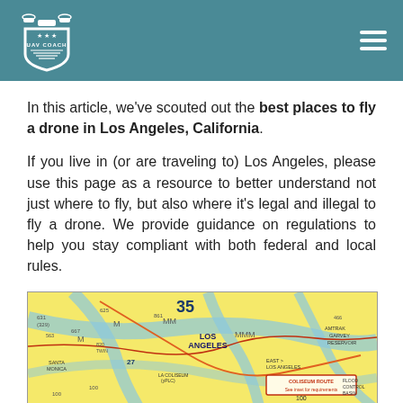UAV COACH
In this article, we've scouted out the best places to fly a drone in Los Angeles, California.
If you live in (or are traveling to) Los Angeles, please use this page as a resource to better understand not just where to fly, but also where it's legal and illegal to fly a drone. We provide guidance on regulations to help you stay compliant with both federal and local rules.
[Figure (map): Aviation sectional chart showing the Los Angeles area airspace with various airways, altitude restrictions, VFR waypoints, and a highlighted Coliseum Route box with text 'See inset for requirements'.]